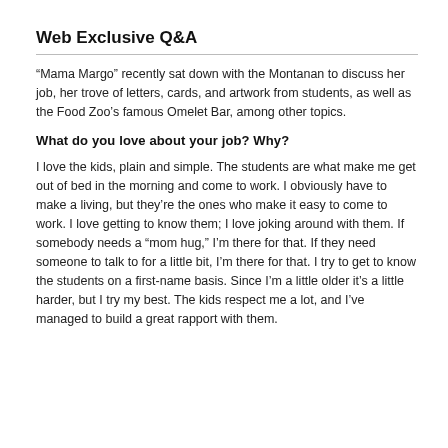Web Exclusive Q&A
“Mama Margo” recently sat down with the Montanan to discuss her job, her trove of letters, cards, and artwork from students, as well as the Food Zoo’s famous Omelet Bar, among other topics.
What do you love about your job? Why?
I love the kids, plain and simple. The students are what make me get out of bed in the morning and come to work. I obviously have to make a living, but they’re the ones who make it easy to come to work. I love getting to know them; I love joking around with them. If somebody needs a “mom hug,” I’m there for that. If they need someone to talk to for a little bit, I’m there for that. I try to get to know the students on a first-name basis. Since I’m a little older it’s a little harder, but I try my best. The kids respect me a lot, and I’ve managed to build a great rapport with them.